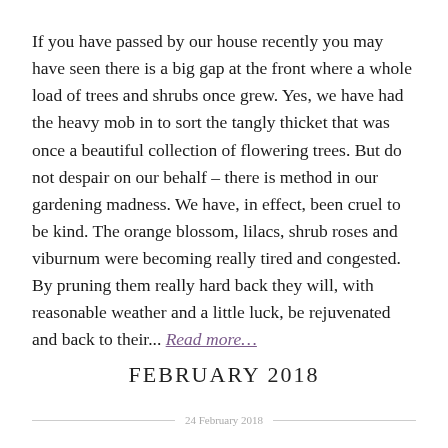If you have passed by our house recently you may have seen there is a big gap at the front where a whole load of trees and shrubs once grew. Yes, we have had the heavy mob in to sort the tangly thicket that was once a beautiful collection of flowering trees. But do not despair on our behalf – there is method in our gardening madness. We have, in effect, been cruel to be kind. The orange blossom, lilacs, shrub roses and viburnum were becoming really tired and congested. By pruning them really hard back they will, with reasonable weather and a little luck, be rejuvenated and back to their... Read more…
FEBRUARY 2018
24 February 2018